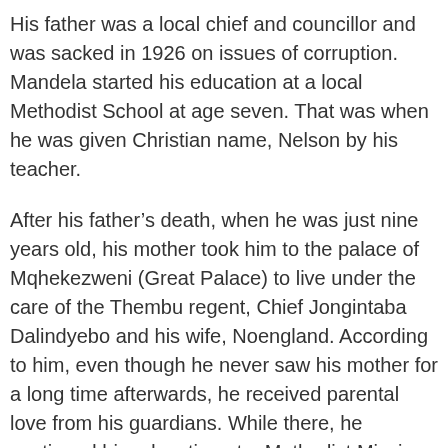His father was a local chief and councillor and was sacked in 1926 on issues of corruption. Mandela started his education at a local Methodist School at age seven. That was when he was given Christian name, Nelson by his teacher.
After his father’s death, when he was just nine years old, his mother took him to the palace of Mqhekezweni (Great Palace) to live under the care of the Thembu regent, Chief Jongintaba Dalindyebo and his wife, Noengland. According to him, even though he never saw his mother for a long time afterwards, he received parental love from his guardians. While there, he continued his education at a Methodist Mission school nearby where he studied history, geography, Xhosa and English.